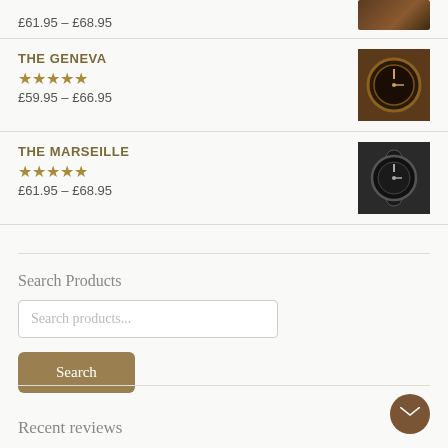£61.95 – £68.95
THE GENEVA ★★★★★ £59.95 – £66.95
THE MARSEILLE ★★★★★ £61.95 – £68.95
Search Products
Search products...
Search
Recent reviews